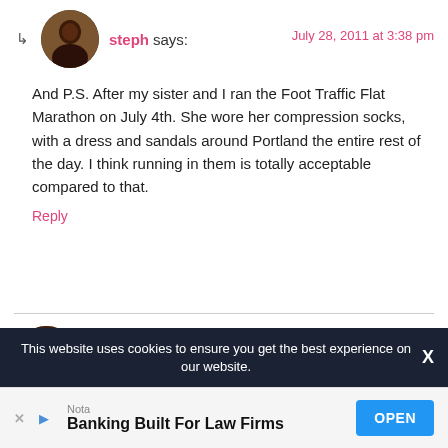steph says: — July 28, 2011 at 3:38 pm
And P.S. After my sister and I ran the Foot Traffic Flat Marathon on July 4th. She wore her compression socks, with a dress and sandals around Portland the entire rest of the day. I think running in them is totally acceptable compared to that.
Reply
abbynyc says: — July 28, 2011 at 3:33 pm
Apparently, my blog is in sync with your blog today. Mine is
This website uses cookies to ensure you get the best experience on our website.
Nota Banking Built For Law Firms OPEN